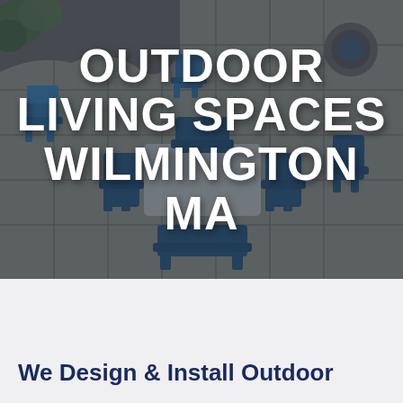[Figure (photo): Aerial/overhead view of a stone patio with blue outdoor furniture (Adirondack chairs and a dining set with benches), stone retaining wall with plants, and a fire pit area, overlaid with dark blue tint]
OUTDOOR LIVING SPACES WILMINGTON MA
We Design & Install Outdoor